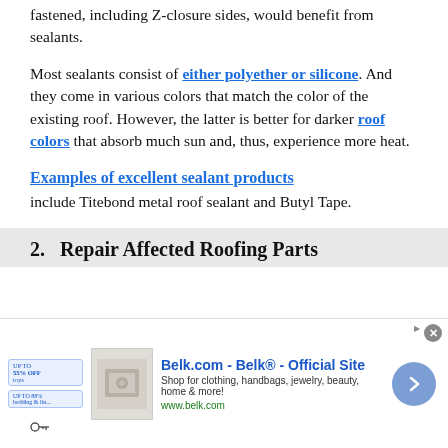fastened, including Z-closure sides, would benefit from sealants.
Most sealants consist of either polyether or silicone. And they come in various colors that match the color of the existing roof. However, the latter is better for darker roof colors that absorb much sun and, thus, experience more heat.
Examples of excellent sealant products
include Titebond metal roof sealant and Butyl Tape.
2. Repair Affected Roofing Parts
[Figure (other): Advertisement banner for Belk.com showing 'Belk® - Official Site' with product image, text 'Shop for clothing, handbags, jewelry, beauty, home & more!' and URL www.belk.com, with navigation arrow button and close button.]